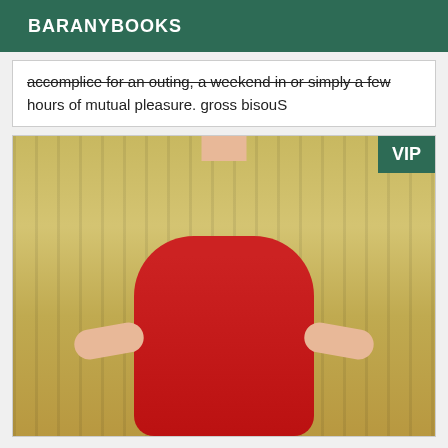BARANYBOOKS
accomplice for an outing, a weekend in or simply a few hours of mutual pleasure. gross bisouS
[Figure (photo): Blonde woman in red top posing in front of golden curtains, with a VIP badge in the top right corner]